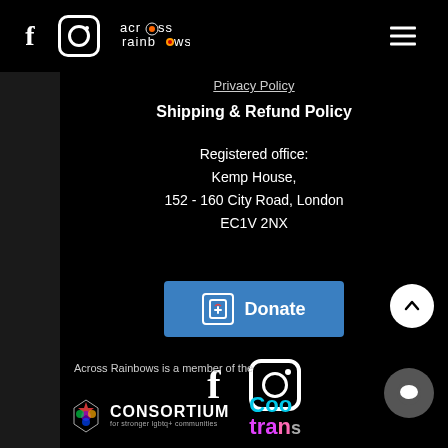Across Rainbows navigation bar with Facebook, Instagram icons and hamburger menu
Privacy Policy
Shipping & Refund Policy
Registered office:
Kemp House,
152 - 160 City Road, London
EC1V 2NX
[Figure (other): Donate button with charity icon]
[Figure (other): Facebook and Instagram social media icons]
Across Rainbows is a member of the
[Figure (logo): Consortium for stronger lgbtq+ communities logo]
[Figure (logo): CoolTrans logo (partially visible)]